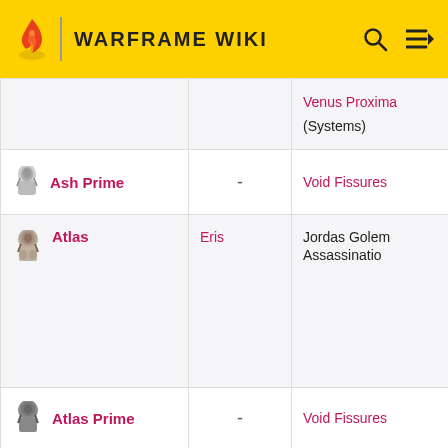WARFRAME WIKI
| Warframe | Location | Drop Source |
| --- | --- | --- |
|  |  | Venus Proxima (Systems) |
| Ash Prime | - | Void Fissures |
| Atlas | Eris | Jordas Golem Assassination |
| Atlas Prime | - | Void Fissures |
| Banshee | Clan Dojo | - |
| Banshee Prime | - | Void Fissures |
| Barruk | Venus | Fortuna |